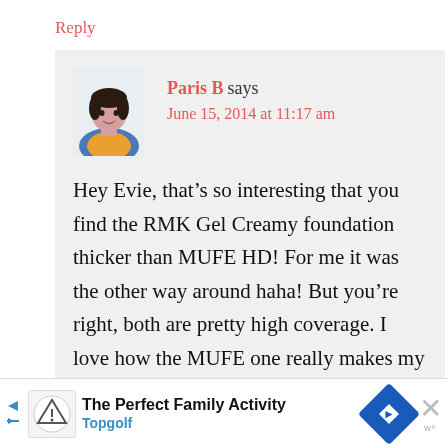Reply
Paris B says
June 15, 2014 at 11:17 am
Hey Evie, that’s so interesting that you find the RMK Gel Creamy foundation thicker than MUFE HD! For me it was the other way around haha! But you’re right, both are pretty high coverage. I love how the MUFE one really makes my skin camera ready and you’re right, their shade
[Figure (other): Advertisement banner for Topgolf - The Perfect Family Activity]
[Figure (photo): Avatar photo of Paris B, a woman with short dark hair]